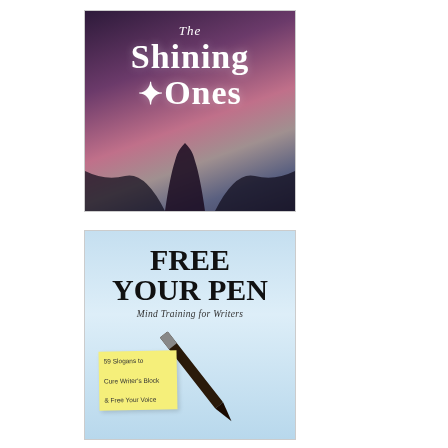[Figure (illustration): Book cover of 'The Shining Ones' — dark purple/mauve twilight sky background with a silhouetted figure, white serif text reading 'The Shining Ones' with a small star icon in the 'O' of Ones]
[Figure (illustration): Book cover of 'Free Your Pen: Mind Training for Writers' — light blue background with a diagonal pen/pencil, bold black title text, subtitle in italic, and a yellow sticky note reading '59 Slogans to Cure Writer's Block & Free Your Voice']